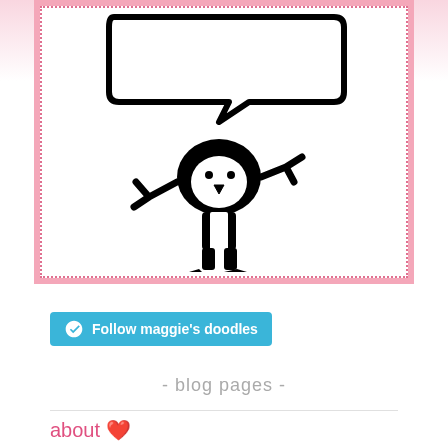[Figure (illustration): Hand-drawn doodle of a cartoon character with a large speech bubble above it. The character appears bird-like or penguin-like with simple features. Displayed inside a pink dotted border frame.]
[Figure (other): WordPress follow button — teal/cyan rounded rectangle with WordPress logo icon and text 'Follow maggie's doodles']
- blog pages -
about ❤️